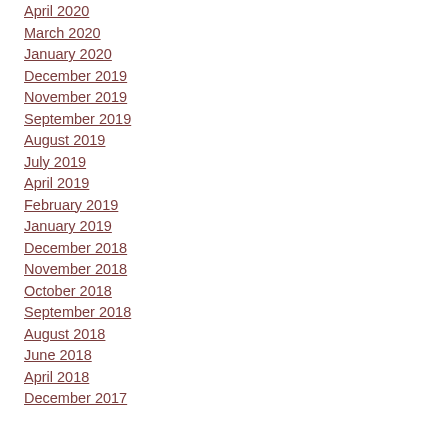April 2020
March 2020
January 2020
December 2019
November 2019
September 2019
August 2019
July 2019
April 2019
February 2019
January 2019
December 2018
November 2018
October 2018
September 2018
August 2018
June 2018
April 2018
December 2017